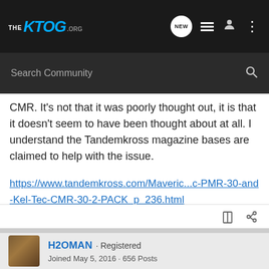THE KTOG.ORG — NEW | List | User | More
Search Community
CMR. It's not that it was poorly thought out, it is that it doesn't seem to have been thought about at all. I understand the Tandemkross magazine bases are claimed to help with the issue.
https://www.tandemkross.com/Maveric...c-PMR-30-and-Kel-Tec-CMR-30-2-PACK_p_236.html
H2OMAN · Registered
Joined May 5, 2016 · 656 Posts